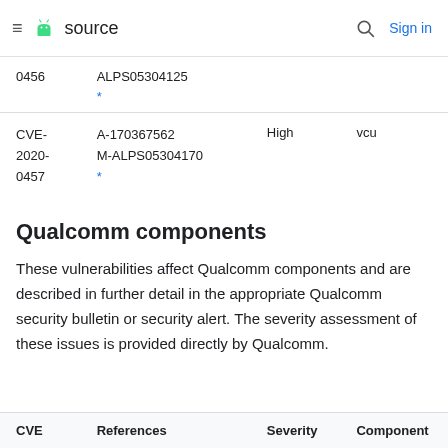≡ source | Search | Sign in
| 0456 | ALPS05304125
* |  |  |
| CVE-2020-0457 | A-170367562
M-ALPS05304170
* | High | vcu |
Qualcomm components
These vulnerabilities affect Qualcomm components and are described in further detail in the appropriate Qualcomm security bulletin or security alert. The severity assessment of these issues is provided directly by Qualcomm.
| CVE | References | Severity | Component |
| --- | --- | --- | --- |